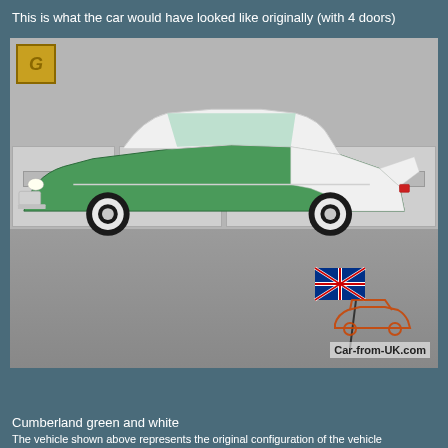This is what the car would have looked like originally (with 4 doors)
[Figure (photo): Side profile photo of a 1957 Ford Fairlane in Cumberland green and white two-tone paint with whitewall tires, parked in front of garage doors. Car-from-UK.com watermark visible in lower right corner.]
Cumberland green and white
The vehicle shown above represents the original configuration of the vehicle